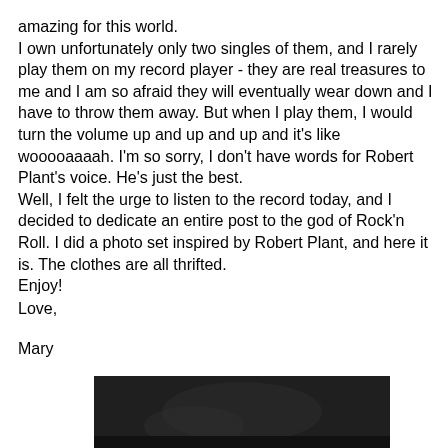amazing for this world.
I own unfortunately only two singles of them, and I rarely play them on my record player - they are real treasures to me and I am so afraid they will eventually wear down and I have to throw them away. But when I play them, I would turn the volume up and up and up and it's like wooooaaaah. I'm so sorry, I don't have words for Robert Plant's voice. He's just the best.
Well, I felt the urge to listen to the record today, and I decided to dedicate an entire post to the god of Rock'n Roll. I did a photo set inspired by Robert Plant, and here it is. The clothes are all thrifted.
Enjoy!
Love,
Mary
[Figure (photo): Partial black and white photo visible at the bottom of the page, dark tones]